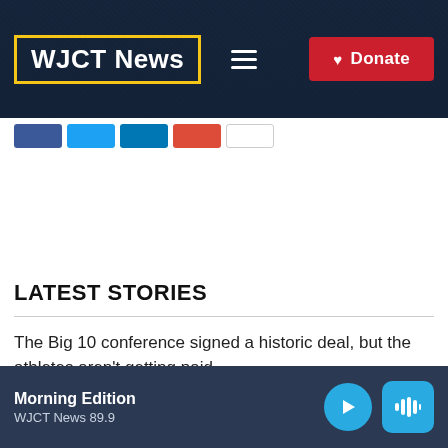WJCT News
[Figure (screenshot): Social share buttons: Facebook, Twitter, LinkedIn, Google+, Email]
LATEST STORIES
The Big 10 conference signed a historic deal, but the athletes aren't getting paid
Morning Edition — WJCT News 89.9